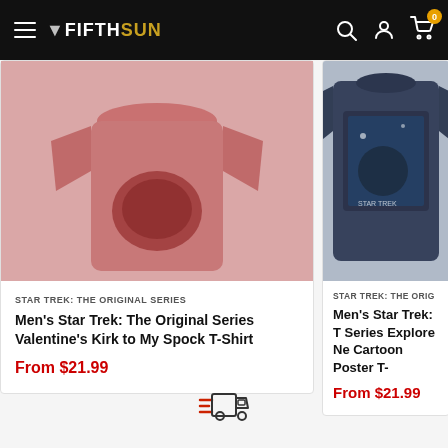FIFTH SUN - Navigation header with hamburger menu, logo, search, account, and cart icons (0 items)
[Figure (photo): Red Star Trek t-shirt product photo, blurred/zoomed view from above]
STAR TREK: THE ORIGINAL SERIES
Men's Star Trek: The Original Series Valentine's Kirk to My Spock T-Shirt
From $21.99
[Figure (photo): Navy blue Star Trek t-shirt product photo, partially cropped]
STAR TREK: THE ORIG
Men's Star Trek: T Series Explore Ne Cartoon Poster T-
From $21.99
[Figure (illustration): Delivery truck icon with speed lines in red and dark outline]